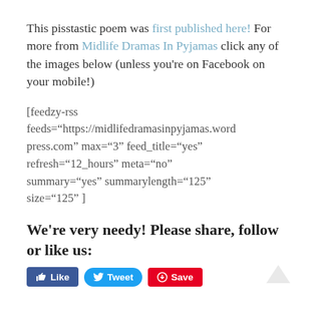This pisstastic poem was first published here! For more from Midlife Dramas In Pyjamas click any of the images below (unless you’re on Facebook on your mobile!)
[feedzy-rss feeds=“https://midlifedramasinpyjamas.wordpress.com” max=“3” feed_title=“yes” refresh=“12_hours” meta=“no” summary=“yes” summarylength=“125” size=“125” ]
We're very needy! Please share, follow or like us:
[Figure (other): Social media buttons: Like (Facebook, blue), Tweet (Twitter, blue), Save (Pinterest, red)]